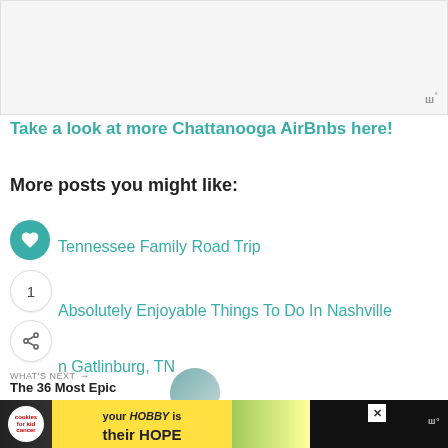[Figure (other): Advertisement banner at the top of the page, light gray background]
Take a look at more Chattanooga AirBnbs here!
More posts you might like:
Tennessee Family Road Trip
Absolutely Enjoyable Things To Do In Nashville
n Gatlinburg, TN
[Figure (other): What's Next navigation widget: 'The 36 Most Epic Things ...' with circular thumbnail of child]
[Figure (other): Advertisement banner at the bottom: cookies for kid cancer / your HOBBY is their HOPE]